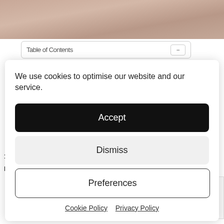[Figure (photo): Partial photo of a person's scalp/head area, beige/brown tones, cropped at top of page]
Table of Contents
We use cookies to optimise our website and our service.
Accept
Dismiss
Preferences
Cookie Policy   Privacy Policy
13- The Hair Clinic-John Bell & Croyden
Frequently Asked Questions (FAQs)
How much does a hair transplant cost?
How painful is a hair transplant?